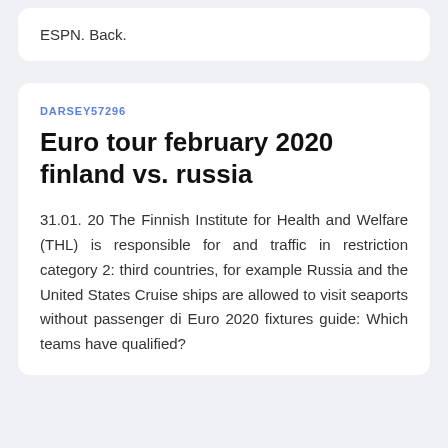ESPN. Back.
DARSEY57296
Euro tour february 2020 finland vs. russia
31.01. 20 The Finnish Institute for Health and Welfare (THL) is responsible for and traffic in restriction category 2: third countries, for example Russia and the United States Cruise ships are allowed to visit seaports without passenger di Euro 2020 fixtures guide: Which teams have qualified?